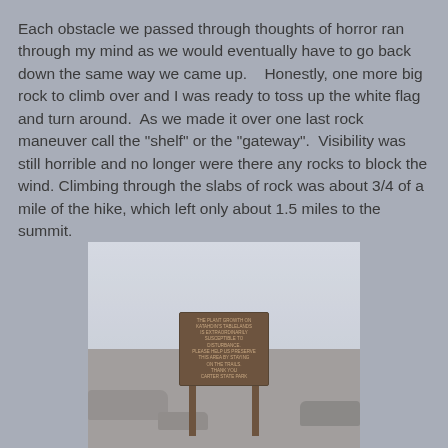Each obstacle we passed through thoughts of horror ran through my mind as we would eventually have to go back down the same way we came up.    Honestly, one more big rock to climb over and I was ready to toss up the white flag and turn around.  As we made it over one last rock maneuver call the "shelf" or the "gateway".  Visibility was still horrible and no longer were there any rocks to block the wind. Climbing through the slabs of rock was about 3/4 of a mile of the hike, which left only about 1.5 miles to the summit.
[Figure (photo): A foggy mountain summit scene with a wooden trail sign posted in rocky terrain. The sign appears to read information about plant growth and asks hikers to stay on the trail. Misty clouds obscure the background. Carter State Park sign visible at bottom.]